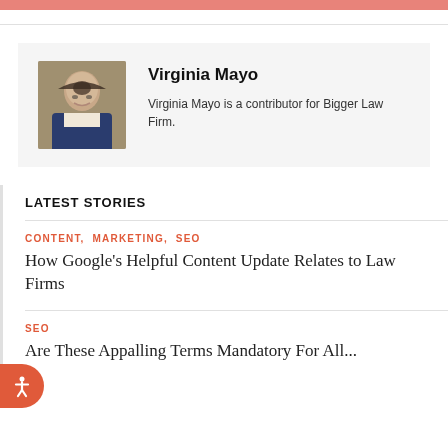[Figure (photo): Headshot photo of Virginia Mayo, a woman with short dark hair and glasses, wearing a dark jacket with white collar]
Virginia Mayo
Virginia Mayo is a contributor for Bigger Law Firm.
LATEST STORIES
CONTENT, MARKETING, SEO
How Google's Helpful Content Update Relates to Law Firms
SEO
Are These Appalling Terms Mandatory For All...